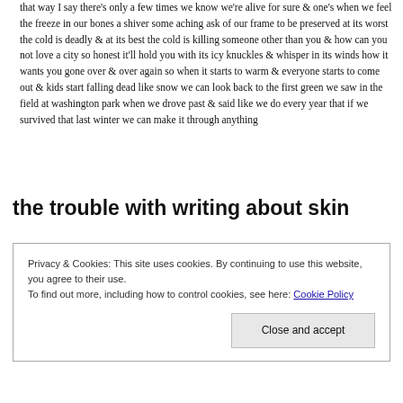that way I say there's only a few times we know we're alive for sure & one's when we feel the freeze in our bones a shiver some aching ask of our frame to be preserved at its worst the cold is deadly & at its best the cold is killing someone other than you & how can you not love a city so honest it'll hold you with its icy knuckles & whisper in its winds how it wants you gone over & over again so when it starts to warm & everyone starts to come out & kids start falling dead like snow we can look back to the first green we saw in the field at washington park when we drove past & said like we do every year that if we survived that last winter we can make it through anything
the trouble with writing about skin
Privacy & Cookies: This site uses cookies. By continuing to use this website, you agree to their use.
To find out more, including how to control cookies, see here: Cookie Policy
Close and accept